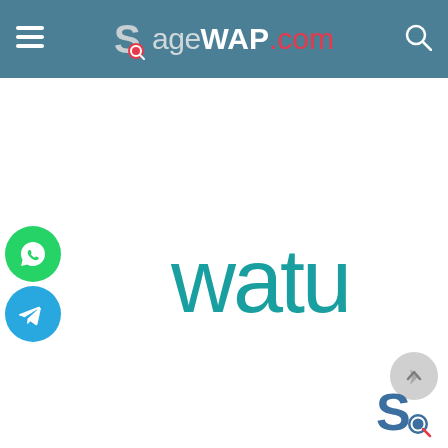≡  SageWAP.com  🔍
[Figure (logo): SageWAP.com website logo in header bar with hamburger menu and search icon]
[Figure (logo): Watu brand logo in teal/dark cyan color on white background]
[Figure (logo): WhatsApp circular green button icon on left side]
[Figure (logo): Telegram circular blue button icon on left side]
[Figure (logo): SageWAP icon small logo at bottom right corner]